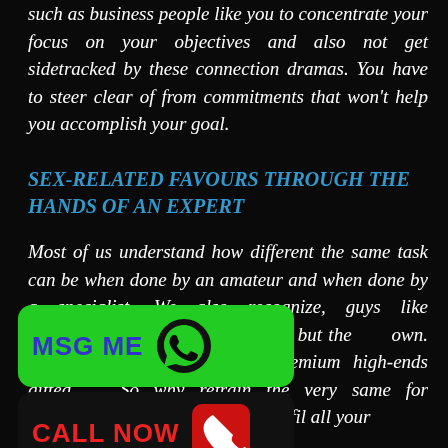such as business people like you to concentrate your focus on your objectives and also not get sidetracked by these connection dramas. You have to steer clear of from commitments that won't help you accomplish your goal.
SEX-RELATED FAVOURS THROUGH THE HANDS OF AN EXPERT
Most of us understand how different the same task can be when done by an amateur and when done by a specialist. We also recognize, guys like ... to settle for anything but the own. And absolutely, you ... st premium high-ends gifted ... So why refrain the very same for negonistic enjoyments as well?Fulfil all your
[Figure (infographic): Two CTA buttons: green 'MSG ME' button with WhatsApp phone icon, and black 'CALL NOW' button with red phone icon]